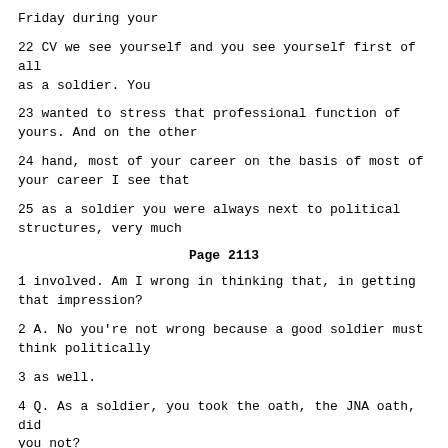Friday during your
22 CV we see yourself and you see yourself first of all as a soldier. You
23 wanted to stress that professional function of yours. And on the other
24 hand, most of your career on the basis of most of your career I see that
25 as a soldier you were always next to political structures, very much
Page 2113
1 involved. Am I wrong in thinking that, in getting that impression?
2 A. No you're not wrong because a good soldier must think politically
3 as well.
4 Q. As a soldier, you took the oath, the JNA oath, did you not?
5 A. Yes, I did.
6 Q. Part of your career, your military career, was following one